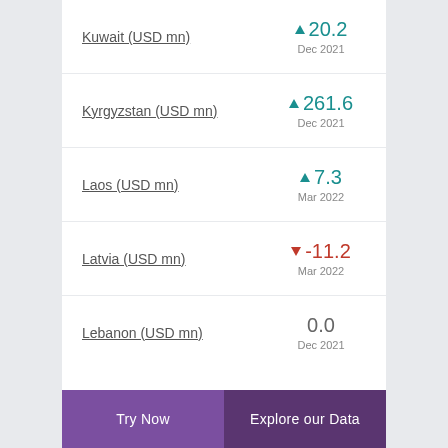Kuwait (USD mn) ▲ 20.2 Dec 2021
Kyrgyzstan (USD mn) ▲ 261.6 Dec 2021
Laos (USD mn) ▲ 7.3 Mar 2022
Latvia (USD mn) ▼ -11.2 Mar 2022
Lebanon (USD mn) 0.0 Dec 2021
Try Now | Explore our Data